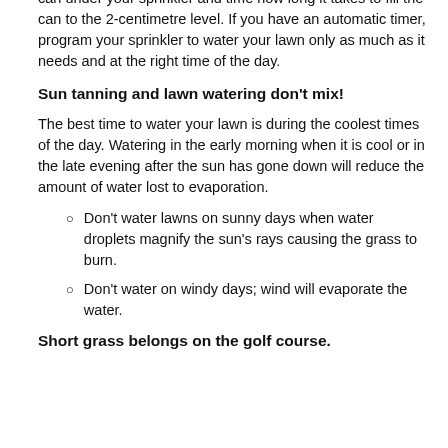can under your sprinkler and time how long it takes to fill the can to the 2-centimetre level. If you have an automatic timer, program your sprinkler to water your lawn only as much as it needs and at the right time of the day.
Sun tanning and lawn watering don't mix!
The best time to water your lawn is during the coolest times of the day. Watering in the early morning when it is cool or in the late evening after the sun has gone down will reduce the amount of water lost to evaporation.
Don't water lawns on sunny days when water droplets magnify the sun's rays causing the grass to burn.
Don't water on windy days; wind will evaporate the water.
Short grass belongs on the golf course.